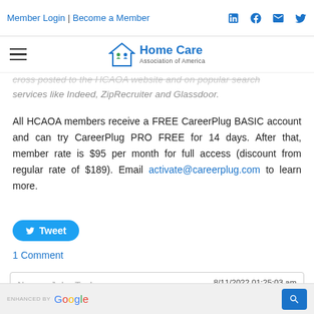Member Login | Become a Member
[Figure (logo): Home Care Association of America logo with house icon and green/blue figures]
cross-posted to the HCAOA website and on popular search services like Indeed, ZipRecruiter and Glassdoor.
All HCAOA members receive a FREE CareerPlug BASIC account and can try CareerPlug PRO FREE for 14 days. After that, member rate is $95 per month for full access (discount from regular rate of $189). Email activate@careerplug.com to learn more.
Tweet
1 Comment
8/11/2022 01:25:03 am
That's very informative for an employer...